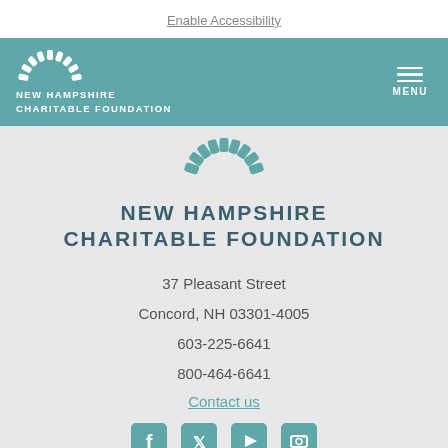Enable Accessibility
[Figure (logo): New Hampshire Charitable Foundation logo with arch icon in white on teal header, with MENU hamburger icon]
[Figure (logo): New Hampshire Charitable Foundation teal arch icon]
NEW HAMPSHIRE CHARITABLE FOUNDATION
37 Pleasant Street
Concord, NH 03301-4005
603-225-6641
800-464-6641
Contact us
[Figure (illustration): Social media icons: Facebook, Twitter, YouTube, LinkedIn in teal]